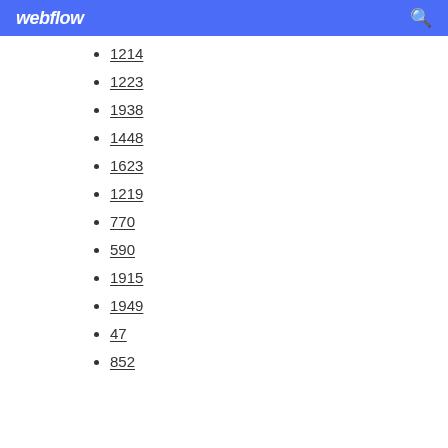webflow
1214
1223
1938
1448
1623
1219
770
590
1915
1949
47
852